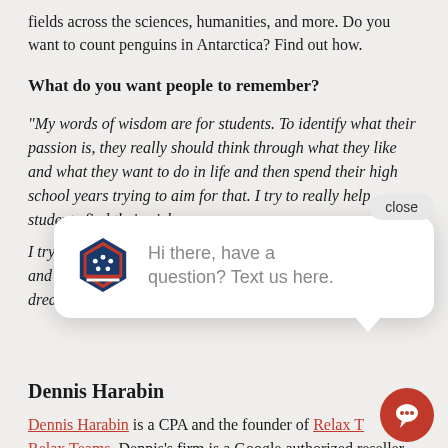fields across the sciences, humanities, and more. Do you want to count penguins in Antarctica? Find out how.
What do you want people to remember?
“My words of wisdom are for students. To identify what their passion is, they really should think through what they like and what they want to do in life and then spend their high school years trying to aim for that. I try to really help students find their niche
I try to help stude... and then put the... dream in high sc...
Dennis Harabin
Dennis Harabin is a CPA and the founder of Relax T... Relax Teams. Dennis’s firm is a Google authorized reseller
[Figure (screenshot): Chat widget popup with hexagonal logo icon and text 'Hi there, have a question? Text us here.' with a close button and red chat bubble button in bottom right corner.]